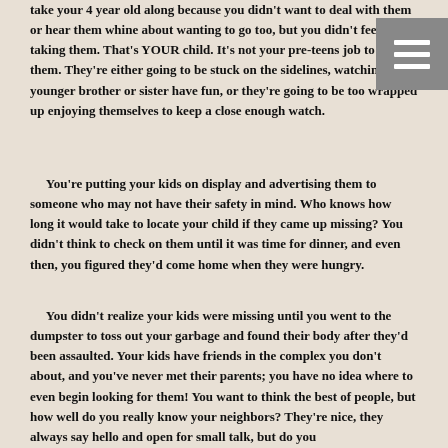take your 4 year old along because you didn't want to deal with them or hear them whine about wanting to go too, but you didn't feel like taking them. That's YOUR child. It's not your pre-teens job to watch them. They're either going to be stuck on the sidelines, watching their younger brother or sister have fun, or they're going to be too wrapped up enjoying themselves to keep a close enough watch.
You're putting your kids on display and advertising them to someone who may not have their safety in mind. Who knows how long it would take to locate your child if they came up missing? You didn't think to check on them until it was time for dinner, and even then, you figured they'd come home when they were hungry.
You didn't realize your kids were missing until you went to the dumpster to toss out your garbage and found their body after they'd been assaulted. Your kids have friends in the complex you don't about, and you've never met their parents; you have no idea where to even begin looking for them! You want to think the best of people, but how well do you really know your neighbors? They're nice, they always say hello and open for small talk, but do you